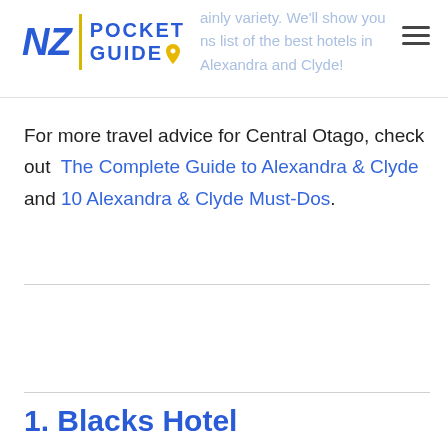NZ Pocket Guide
For more travel advice for Central Otago, check out The Complete Guide to Alexandra & Clyde and 10 Alexandra & Clyde Must-Dos.
1. Blacks Hotel